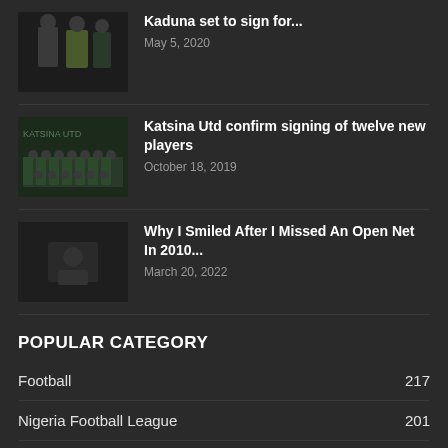[Figure (photo): Photo of two men posing together, one in a suit, one in a yellow jacket]
Kaduna set to sign for...
May 5, 2020
[Figure (photo): Team photo of football players in green kits]
Katsina Utd confirm signing of twelve new players
October 18, 2019
[Figure (photo): Placeholder thumbnail for article]
Why I Smiled After I Missed An Open Net In 2010...
March 20, 2022
POPULAR CATEGORY
Football    217
Nigeria Football League    201
National Team News    155
Interview    79